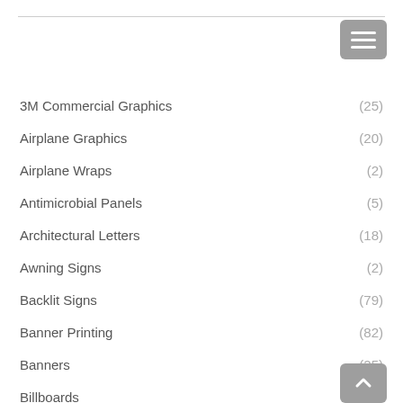3M Commercial Graphics (25)
Airplane Graphics (20)
Airplane Wraps (2)
Antimicrobial Panels (5)
Architectural Letters (18)
Awning Signs (2)
Backlit Signs (79)
Banner Printing (82)
Banners (25)
Billboards (71)
Boat Wraps (68)
Bus Wraps (67)
Business awnings (7)
Car Wraps (90)
Channel Letters (2)
Custom awnings (3)